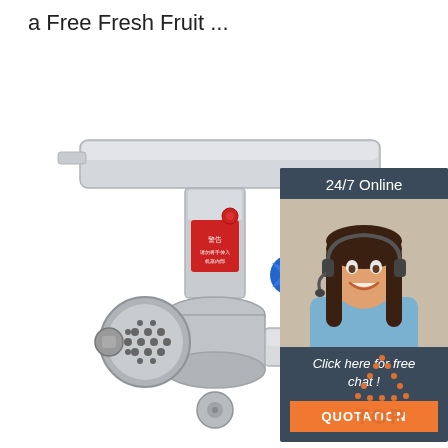a Free Fresh Fruit ...
[Figure (other): Orange 'Get Price' button]
[Figure (photo): Commercial stainless steel meat grinder with blue hand knob, red label, and tray on top]
[Figure (photo): Chat support panel showing '24/7 Online', photo of woman with headset smiling, text 'Click here for free chat!', and orange QUOTATION button]
[Figure (illustration): Orange dotted triangle 'TOP' navigation icon]